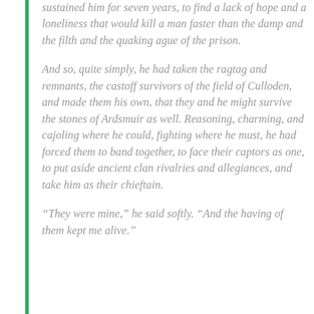sustained him for seven years, to find a lack of hope and a loneliness that would kill a man faster than the damp and the filth and the quaking ague of the prison.
And so, quite simply, he had taken the ragtag and remnants, the castoff survivors of the field of Culloden, and made them his own, that they and he might survive the stones of Ardsmuir as well. Reasoning, charming, and cajoling where he could, fighting where he must, he had forced them to band together, to face their captors as one, to put aside ancient clan rivalries and allegiances, and take him as their chieftain.
“They were mine,” he said softly. “And the having of them kept me alive.”